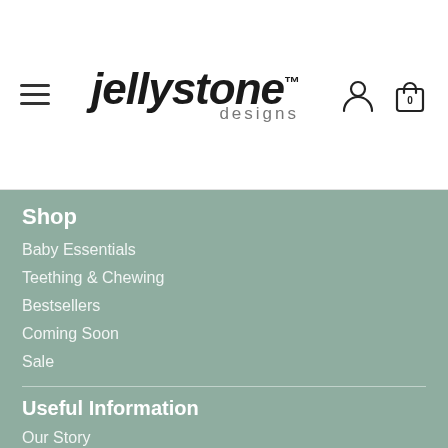Jellystone Designs — navigation header
Shop
Baby Essentials
Teething & Chewing
Bestsellers
Coming Soon
Sale
Useful Information
Our Story
FAQ's